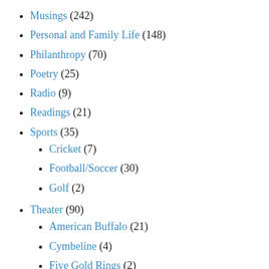Musings (242)
Personal and Family Life (148)
Philanthropy (70)
Poetry (25)
Radio (9)
Readings (21)
Sports (35)
Cricket (7)
Football/Soccer (30)
Golf (2)
Theater (90)
American Buffalo (21)
Cymbeline (4)
Five Gold Rings (2)
Hamlet (9)
Into the Woods (7)